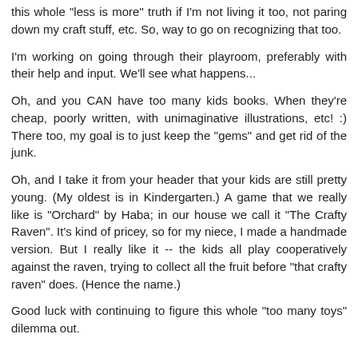this whole "less is more" truth if I'm not living it too, not paring down my craft stuff, etc. So, way to go on recognizing that too.
I'm working on going through their playroom, preferably with their help and input. We'll see what happens...
Oh, and you CAN have too many kids books. When they're cheap, poorly written, with unimaginative illustrations, etc! :) There too, my goal is to just keep the "gems" and get rid of the junk.
Oh, and I take it from your header that your kids are still pretty young. (My oldest is in Kindergarten.) A game that we really like is "Orchard" by Haba; in our house we call it "The Crafty Raven". It's kind of pricey, so for my niece, I made a handmade version. But I really like it -- the kids all play cooperatively against the raven, trying to collect all the fruit before "that crafty raven" does. (Hence the name.)
Good luck with continuing to figure this whole "too many toys" dilemma out.